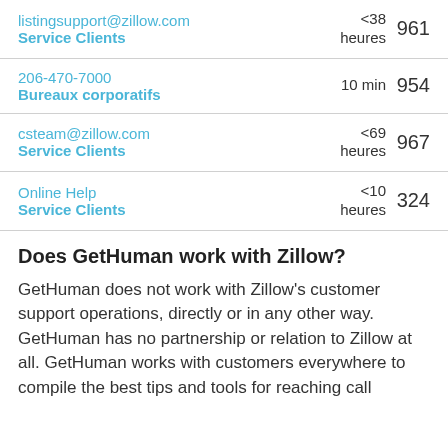listingsupport@zillow.com
Service Clients
<38 heures
961
206-470-7000
Bureaux corporatifs
10 min
954
csteam@zillow.com
Service Clients
<69 heures
967
Online Help
Service Clients
<10 heures
324
Does GetHuman work with Zillow?
GetHuman does not work with Zillow's customer support operations, directly or in any other way. GetHuman has no partnership or relation to Zillow at all. GetHuman works with customers everywhere to compile the best tips and tools for reaching call